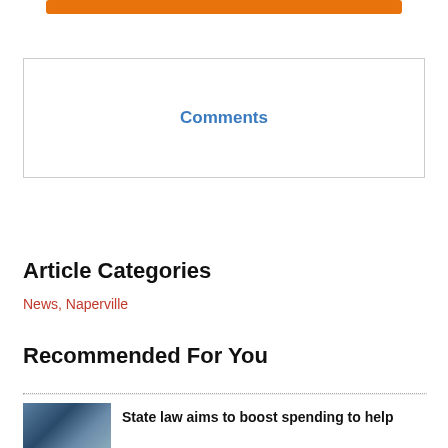[Figure (other): Orange navigation/header bar at top]
Comments
Article Categories
News, Naperville
Recommended For You
[Figure (photo): Thumbnail image for article]
State law aims to boost spending to help